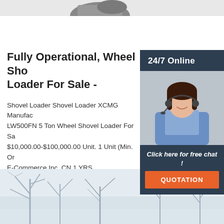[Figure (photo): Partial top image of a wheel shovel loader machine, cropped at top of page]
[Figure (photo): Sidebar showing a customer service representative wearing a headset, smiling, with '24/7 Online' header, 'Click here for free chat!' text and QUOTATION button]
Fully Operational, Wheel Shovel Loader For Sale -
Shovel Loader Shovel Loader XCMG Manufacturer LW500FN 5 Ton Wheel Shovel Loader For Sale $10,000.00-$100,000.00 Unit. 1 Unit (Min. Order) E-Commerce Inc. CN 1 YRS.
[Figure (other): Orange 'Get Price' button]
[Figure (photo): Bottom image showing a winter scene with bare trees covered in snow/frost]